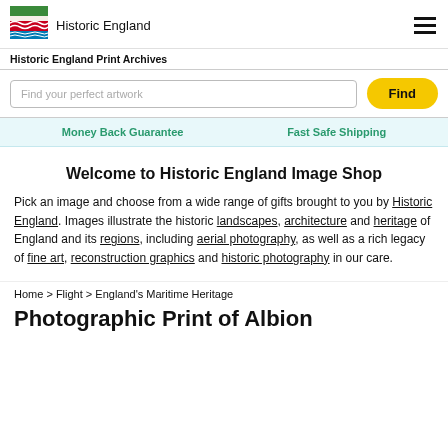Historic England
Historic England Print Archives
Find your perfect artwork
Find
Money Back Guarantee   Fast Safe Shipping
Welcome to Historic England Image Shop
Pick an image and choose from a wide range of gifts brought to you by Historic England. Images illustrate the historic landscapes, architecture and heritage of England and its regions, including aerial photography, as well as a rich legacy of fine art, reconstruction graphics and historic photography in our care.
Home > Flight > England's Maritime Heritage
Photographic Print of Albion